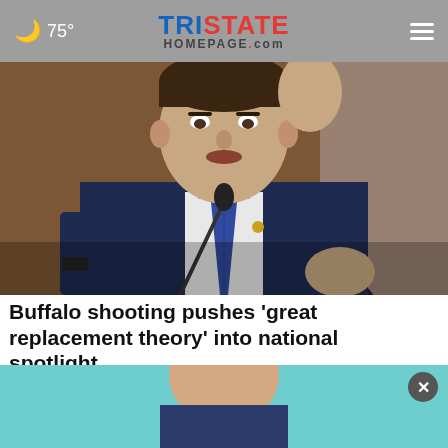🌙 75° TRISTATE HOMEPAGE.com
[Figure (photo): Man in dark suit with blue tie gesturing with hand raised, speaking at a microphone in a formal hearing setting]
Buffalo shooting pushes 'great replacement theory' into national spotlight
[Figure (photo): Partial view of a person with a FALL SPORTS SALUTE advertisement from Algonquins Pizza & Wings overlaid, with a close (X) button]